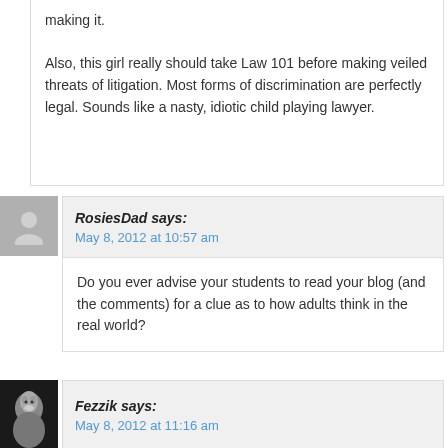making it. Also, this girl really should take Law 101 before making veiled threats of litigation. Most forms of discrimination are perfectly legal. Sounds like a nasty, idiotic child playing lawyer.
RosiesDad says:
May 8, 2012 at 10:57 am
Do you ever advise your students to read your blog (and the comments) for a clue as to how adults think in the real world?
Fezzik says:
May 8, 2012 at 11:16 am